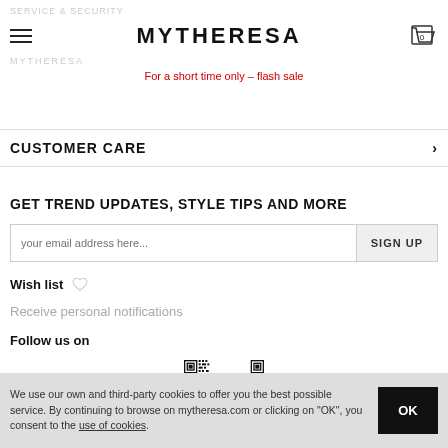SERVICE & SECURITY | MYTHERESA | For a short time only – flash sale
CUSTOMER CARE
GET TREND UPDATES, STYLE TIPS AND MORE
your email address here... SIGN UP
Wish list
Receive personal notifications
Follow us on
[Figure (other): QR code for Mytheresa]
We use our own and third-party cookies to offer you the best possible service. By continuing to browse on mytheresa.com or clicking on "OK", you consent to the use of cookies.